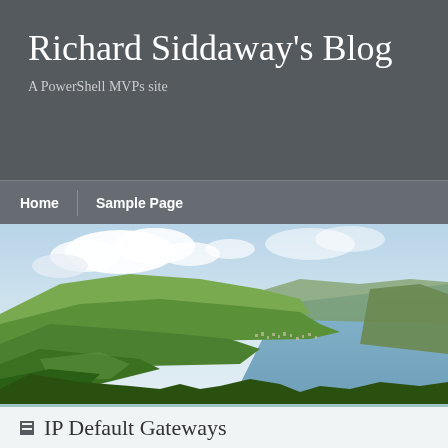Richard Siddaway's Blog
A PowerShell MVPs site
Home | Sample Page
[Figure (photo): Landscape photograph showing green rolling hills and coastal cliffs with a blue sky and white clouds, featuring a town near a bay or sea inlet]
IP Default Gateways